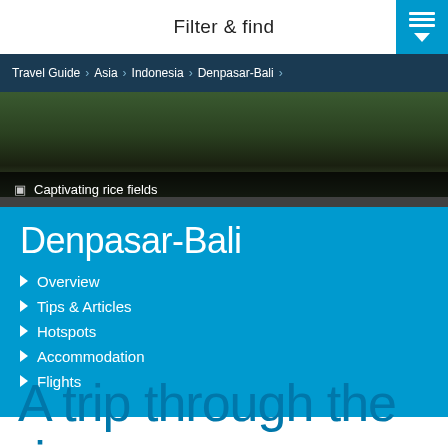Filter & find
Travel Guide > Asia > Indonesia > Denpasar-Bali >
[Figure (photo): Aerial or ground-level photo of green and dark rice fields/terraces in Bali]
Captivating rice fields
Denpasar-Bali
Overview
Tips & Articles
Hotspots
Accommodation
Flights
A trip through the rice